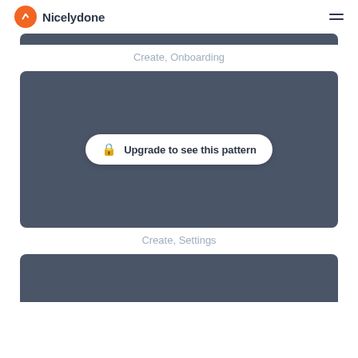Nicelydone
[Figure (screenshot): Partial top of a dark card (screenshot preview, partially cut off at top)]
Create, Onboarding
[Figure (screenshot): Dark card with a white pill button reading 'Upgrade to see this pattern' with a lock icon]
Create, Settings
[Figure (screenshot): Partial dark card visible at bottom of page, cut off]